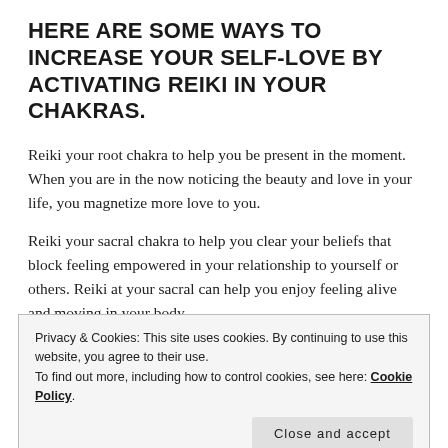HERE ARE SOME WAYS TO INCREASE YOUR SELF-LOVE BY ACTIVATING REIKI IN YOUR CHAKRAS.
Reiki your root chakra to help you be present in the moment. When you are in the now noticing the beauty and love in your life, you magnetize more love to you.
Reiki your sacral chakra to help you clear your beliefs that block feeling empowered in your relationship to yourself or others. Reiki at your sacral can help you enjoy feeling alive and moving in your body.
Privacy & Cookies: This site uses cookies. By continuing to use this website, you agree to their use.
To find out more, including how to control cookies, see here: Cookie Policy
[Close and accept]
Reiki your heart chakra to activate feelings of